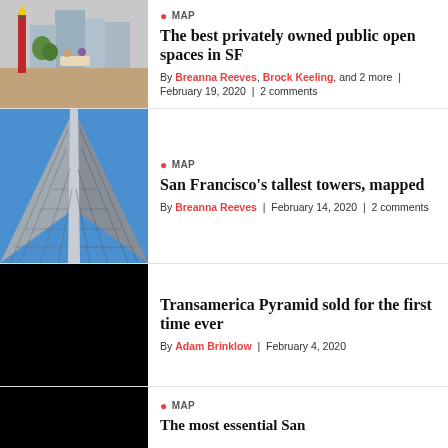[Figure (photo): Outdoor public plaza in San Francisco with red sculptural pencil monument and people dining at tables, buildings in background]
The best privately owned public open spaces in SF
MAP | By Breanna Reeves, Brock Keeling, and 2 more | February 19, 2020 | 2 comments
[Figure (photo): Looking up at the Transamerica Pyramid building from ground level against blue sky, showing the geometric triangular facade]
San Francisco's tallest towers, mapped
MAP | By Breanna Reeves | February 14, 2020 | 2 comments
[Figure (photo): Black image placeholder for Transamerica Pyramid sold article]
Transamerica Pyramid sold for the first time ever
By Adam Brinklow | February 4, 2020
[Figure (photo): Black image placeholder for most essential San article]
The most essential San